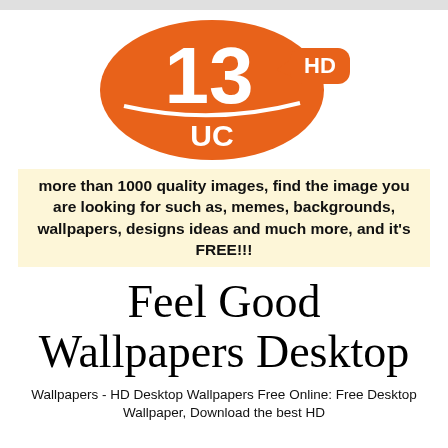[Figure (logo): Orange oval logo with '13' in large white numerals, 'UC' in white text at bottom of oval, and an orange speech-bubble badge with 'HD' in white text to the right]
more than 1000 quality images, find the image you are looking for such as, memes, backgrounds, wallpapers, designs ideas and much more, and it's FREE!!!
Feel Good Wallpapers Desktop
Wallpapers - HD Desktop Wallpapers Free Online: Free Desktop Wallpaper, Download the best HD